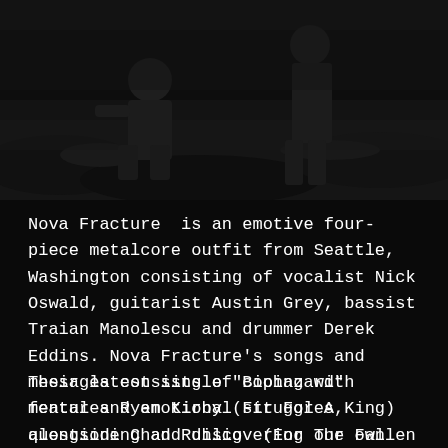[Figure (photo): Dark moody band photo of Nova Fracture members posing on rocky terrain. The image has high contrast with deep shadows. At least two figures are visible — one crouching on the left and one standing on the right — against a dark, rocky outdoor background.]
Nova Fracture  is an emotive four-piece metalcore outfit from Seattle, Washington consisting of vocalist Nick Oswald, guitarist Austin Grey, bassist Traian Manolescu and drummer Derek Eddins. Nova Fracture's songs and messages consists of coping with mental and emotional struggles, questioning and discovering our own humanity, and chasing after our own free will
Their latest single "Biohazard" features Ryan Kirby (Fit For A King)  alongside Chad Ruhlig  (For The Fallen Dreams)  and is a continuation of the heavy